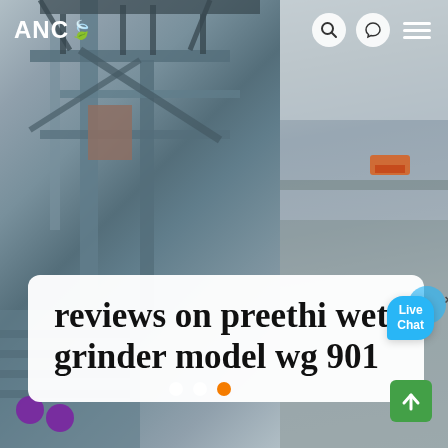ANC
[Figure (photo): Industrial machinery/conveyor equipment on left side and mining/quarry landscape on right side background collage]
reviews on preethi wet grinder model wg 901
[Figure (infographic): Live Chat speech bubble widget in blue with close X button]
[Figure (infographic): Carousel pagination dots: two white dots and one orange active dot]
[Figure (infographic): Green scroll-to-top button with upward arrow in bottom right corner]